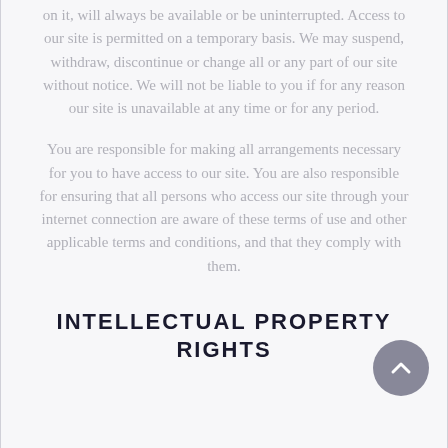on it, will always be available or be uninterrupted. Access to our site is permitted on a temporary basis. We may suspend, withdraw, discontinue or change all or any part of our site without notice. We will not be liable to you if for any reason our site is unavailable at any time or for any period.
You are responsible for making all arrangements necessary for you to have access to our site. You are also responsible for ensuring that all persons who access our site through your internet connection are aware of these terms of use and other applicable terms and conditions, and that they comply with them.
INTELLECTUAL PROPERTY RIGHTS